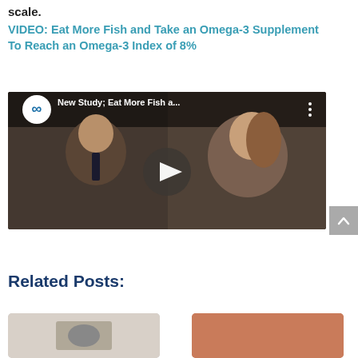scale.
VIDEO: Eat More Fish and Take an Omega-3 Supplement To Reach an Omega-3 Index of 8%
[Figure (screenshot): YouTube video thumbnail showing two people in an office/lab setting. Title reads 'New Study; Eat More Fish a...' with a play button in the center. Features the OmegaQuant logo (infinity symbol in blue circle) in the top left corner.]
Related Posts:
[Figure (photo): Thumbnail image on the left — appears to show a medical or scientific item on a light background.]
[Figure (photo): Thumbnail image on the right — orange/terracotta colored background.]